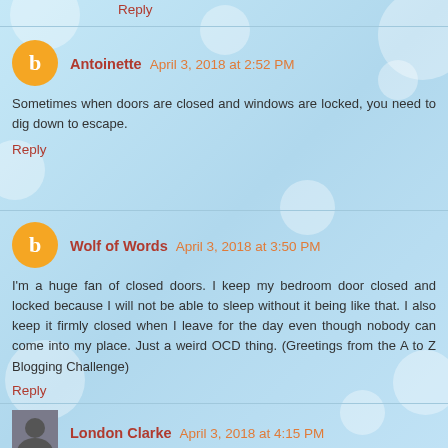Reply
Antoinette  April 3, 2018 at 2:52 PM
Sometimes when doors are closed and windows are locked, you need to dig down to escape.
Reply
Wolf of Words  April 3, 2018 at 3:50 PM
I'm a huge fan of closed doors. I keep my bedroom door closed and locked because I will not be able to sleep without it being like that. I also keep it firmly closed when I leave for the day even though nobody can come into my place. Just a weird OCD thing. (Greetings from the A to Z Blogging Challenge)
Reply
London Clarke  April 3, 2018 at 4:15 PM
I love this topic. It makes me think of B.A. Paris's novel